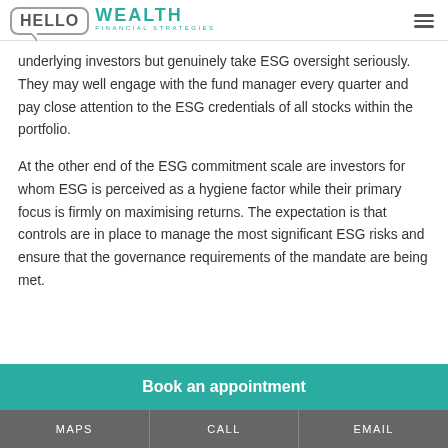HELLO WEALTH FINANCIAL STRATEGIES
underlying investors but genuinely take ESG oversight seriously. They may well engage with the fund manager every quarter and pay close attention to the ESG credentials of all stocks within the portfolio.
At the other end of the ESG commitment scale are investors for whom ESG is perceived as a hygiene factor while their primary focus is firmly on maximising returns. The expectation is that controls are in place to manage the most significant ESG risks and ensure that the governance requirements of the mandate are being met.
Book an appointment
MAPS  CALL  EMAIL